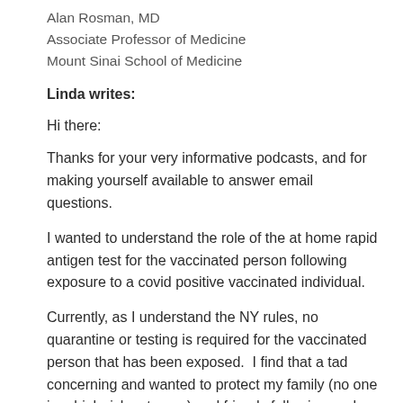Alan Rosman, MD
Associate Professor of Medicine
Mount Sinai School of Medicine
Linda writes:
Hi there:
Thanks for your very informative podcasts, and for making yourself available to answer email questions.
I wanted to understand the role of the at home rapid antigen test for the vaccinated person following exposure to a covid positive vaccinated individual.
Currently, as I understand the NY rules, no quarantine or testing is required for the vaccinated person that has been exposed.  I find that a tad concerning and wanted to protect my family (no one in a high risk category) and friends following such an exposure and